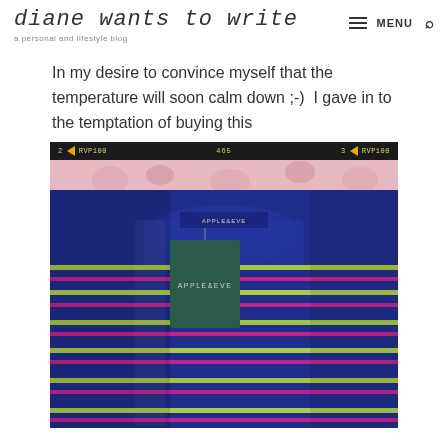diane wants to write — a personal and lifestyle blog
In my desire to convince myself that the temperature will soon calm down ;-)  I gave in to the temptation of buying this
[Figure (photo): A blue striped sweater with pink and green/yellow horizontal stripes, brand tag reading APPLE&EVE, photographed on a floral background. Film strip header shows: 2 RVP100 465 3 RVP100]